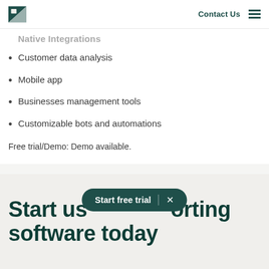Zendesk logo | Contact Us | menu
Native Integrations
Customer data analysis
Mobile app
Businesses management tools
Customizable bots and automations
Free trial/Demo: Demo available.
Start using reporting software today
[Figure (screenshot): Floating pill/banner with 'Start free trial' text and X close button]